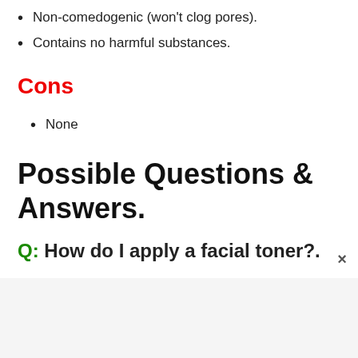Non-comedogenic (won't clog pores).
Contains no harmful substances.
Cons
None
Possible Questions & Answers.
Q: How do I apply a facial toner?.